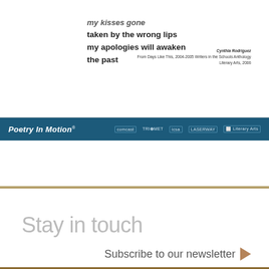my kisses gone
taken by the wrong lips
my apologies will awaken
the past
Cynthia Rodriguez
From Days Like This, 2004-2005 Writers in the Schools Anthology
Literary Arts, 2006
[Figure (logo): Poetry In Motion® program bar with sponsor logos: Comcast, TriMet, ICOSA, LASERWAY, Literary Arts]
Stay in touch
Subscribe to our newsletter ▶